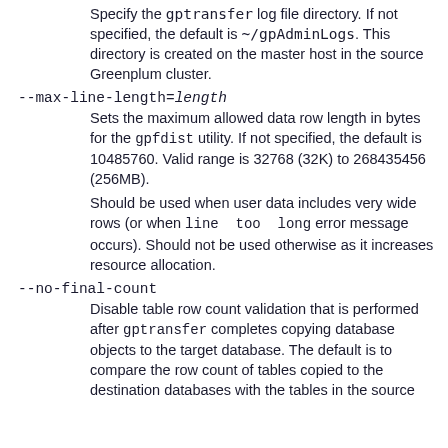Specify the gptransfer log file directory. If not specified, the default is ~/gpAdminLogs. This directory is created on the master host in the source Greenplum cluster.
--max-line-length=length
Sets the maximum allowed data row length in bytes for the gpfdist utility. If not specified, the default is 10485760. Valid range is 32768 (32K) to 268435456 (256MB).
Should be used when user data includes very wide rows (or when line too long error message occurs). Should not be used otherwise as it increases resource allocation.
--no-final-count
Disable table row count validation that is performed after gptransfer completes copying database objects to the target database. The default is to compare the row count of tables copied to the destination databases with the tables in the source